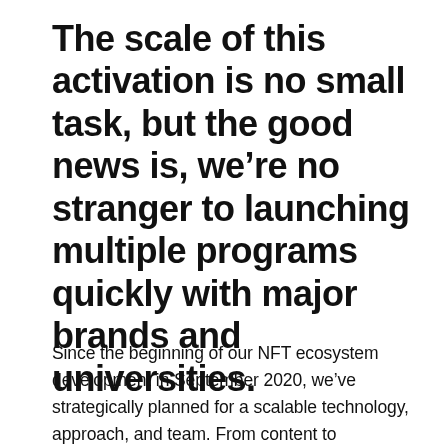The scale of this activation is no small task, but the good news is, we're no stranger to launching multiple programs quickly with major brands and universities.
Since the beginning of our NFT ecosystem development in September 2020, we've strategically planned for a scalable technology, approach, and team. From content to collaboration, we've built a plan